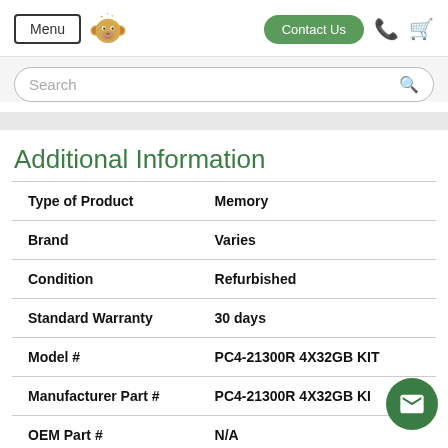Menu | [monkey logo] | Contact Us | phone | cart
Search
Additional Information
|  |  |
| --- | --- |
| Type of Product | Memory |
| Brand | Varies |
| Condition | Refurbished |
| Standard Warranty | 30 days |
| Model # | PC4-21300R 4X32GB KIT |
| Manufacturer Part # | PC4-21300R 4X32GB KIT |
| OEM Part # | N/A |